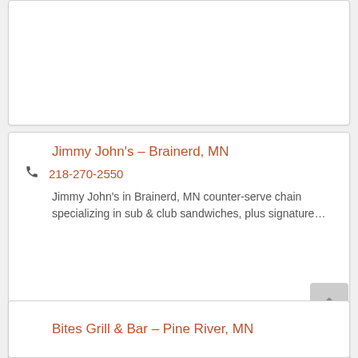Jimmy John's – Brainerd, MN
218-270-2550
Jimmy John's in Brainerd, MN counter-serve chain specializing in sub & club sandwiches, plus signature…
Bites Grill & Bar – Pine River, MN